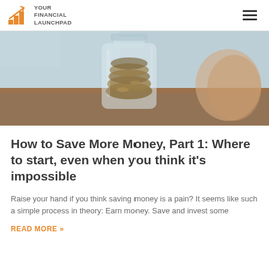YOUR FINANCIAL LAUNCHPAD
[Figure (photo): Photo of a glass jar filled with coins on a wooden surface, with a blurred background; person's arm visible.]
How to Save More Money, Part 1: Where to start, even when you think it's impossible
Raise your hand if you think saving money is a pain? It seems like such a simple process in theory: Earn money. Save and invest some
READ MORE »